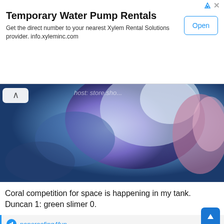Temporary Water Pump Rentals
Get the direct number to your nearest Xylem Rental Solutions provider. info.xyleminc.com
[Figure (photo): Underwater coral reef photograph showing blue/purple coral and marine organisms]
Coral competition for space is happening in my tank. Duncan 1: green slimer 0.
nanoreefing4fun
Temporary Water Pump Rentals
Get the direct number to your nearest Xylem Rental Solutions provider.
Ad  Xylem Rental Solutions